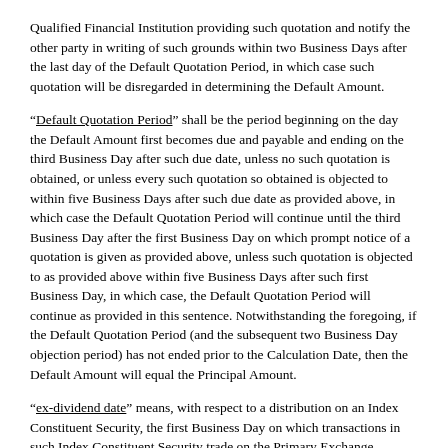Qualified Financial Institution providing such quotation and notify the other party in writing of such grounds within two Business Days after the last day of the Default Quotation Period, in which case such quotation will be disregarded in determining the Default Amount.
“Default Quotation Period” shall be the period beginning on the day the Default Amount first becomes due and payable and ending on the third Business Day after such due date, unless no such quotation is obtained, or unless every such quotation so obtained is objected to within five Business Days after such due date as provided above, in which case the Default Quotation Period will continue until the third Business Day after the first Business Day on which prompt notice of a quotation is given as provided above, unless such quotation is objected to as provided above within five Business Days after such first Business Day, in which case, the Default Quotation Period will continue as provided in this sentence. Notwithstanding the foregoing, if the Default Quotation Period (and the subsequent two Business Day objection period) has not ended prior to the Calculation Date, then the Default Amount will equal the Principal Amount.
“ex-dividend date” means, with respect to a distribution on an Index Constituent Security, the first Business Day on which transactions in such Index Constituent Security trade on the Primary Exchange without the right to receive such distribution.